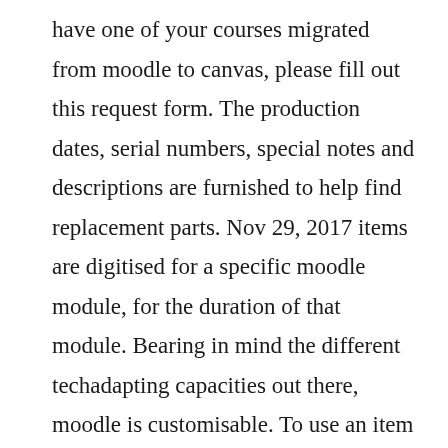have one of your courses migrated from moodle to canvas, please fill out this request form. The production dates, serial numbers, special notes and descriptions are furnished to help find replacement parts. Nov 29, 2017 items are digitised for a specific moodle module, for the duration of that module. Bearing in mind the different techadapting capacities out there, moodle is customisable. To use an item on more than one moodle module, please submit a separate digitisation request for each module. As we move our